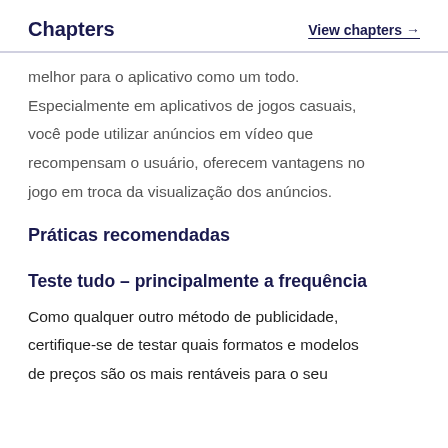Chapters | View chapters →
melhor para o aplicativo como um todo. Especialmente em aplicativos de jogos casuais, você pode utilizar anúncios em vídeo que recompensam o usuário, oferecem vantagens no jogo em troca da visualização dos anúncios.
Práticas recomendadas
Teste tudo – principalmente a frequência
Como qualquer outro método de publicidade, certifique-se de testar quais formatos e modelos de preços são os mais rentáveis para o seu